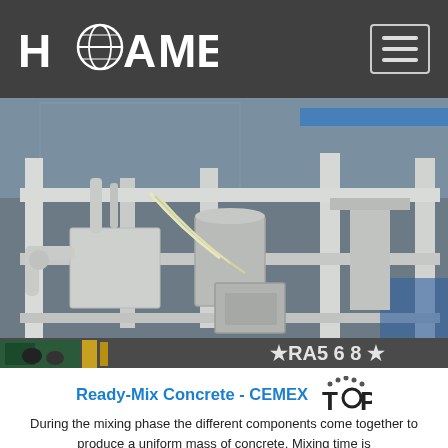HAOMEI
[Figure (photo): Industrial concrete mixing machinery, showing white metal frame structure with pipes, cables, cylinders and mechanical components. Text 'RA568' visible in lower right area of the photo.]
Ready-Mix Concrete - CEMEX
During the mixing phase the different components come together to produce a uniform mass of concrete. Mixing time is